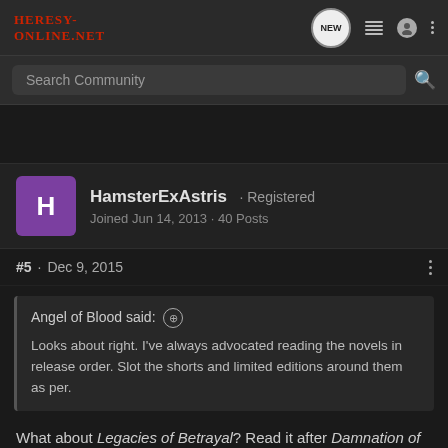Heresy-Online.net
Search Community
HamsterExAstris · Registered
Joined Jun 14, 2013 · 40 Posts
#5 · Dec 9, 2015
Angel of Blood said: ⊕
Looks about right. I've always advocated reading the novels in release order. Slot the shorts and limited editions around them as per.
What about Legacies of Betrayal? Read it after Damnation of Pythos, read it at some point earlier in the 20+ novel span it